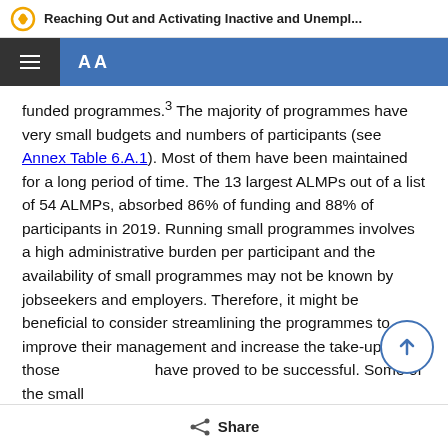Reaching Out and Activating Inactive and Unempl...
funded programmes.³ The majority of programmes have very small budgets and numbers of participants (see Annex Table 6.A.1). Most of them have been maintained for a long period of time. The 13 largest ALMPs out of a list of 54 ALMPs, absorbed 86% of funding and 88% of participants in 2019. Running small programmes involves a high administrative burden per participant and the availability of small programmes may not be known by jobseekers and employers. Therefore, it might be beneficial to consider streamlining the programmes to improve their management and increase the take-up of those have proved to be successful. Some of the small programmes are nevertheless relevant in particular the
Share